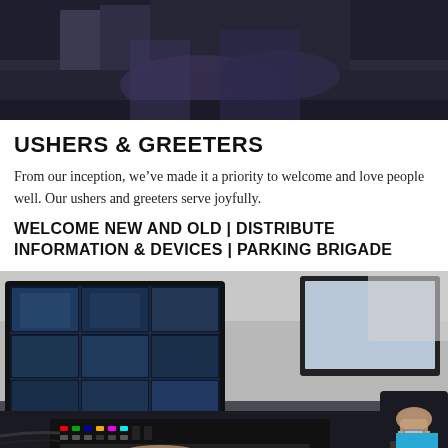[Figure (photo): Cropped photo showing hands/torso of a person, dark background, partial view at top of page]
USHERS & GREETERS
From our inception, we've made it a priority to welcome and love people well. Our ushers and greeters serve joyfully.
WELCOME NEW AND OLD | DISTRIBUTE INFORMATION & DEVICES | PARKING BRIGADE
[Figure (photo): Photo of a broadcast control room setup with video switcher/mixing console and multiple monitors displaying camera feeds, a person's hands operating equipment]